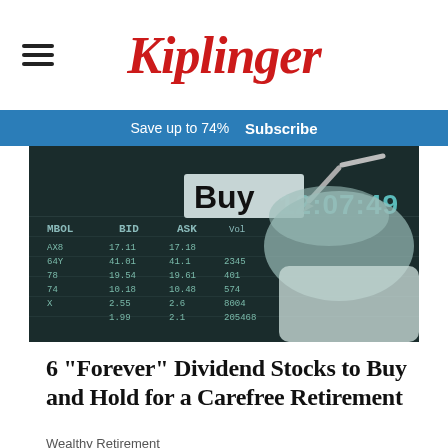Kiplinger
Save up to 74%  Subscribe
[Figure (photo): Hand holding a pen pointing to a 'Buy' label on a stock ticker board showing BID/ASK prices. Teal-tinted monochrome image with a digital clock showing 12:07:49 in the upper right.]
6 "Forever" Dividend Stocks to Buy and Hold for a Carefree Retirement
Wealthy Retirement
MOST POPULAR